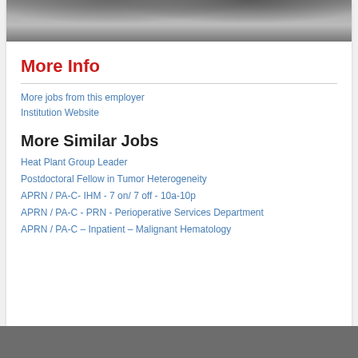[Figure (photo): Exterior photograph of a building with concrete driveway/walkway and green shrubs visible at top]
More Info
More jobs from this employer
Institution Website
More Similar Jobs
Heat Plant Group Leader
Postdoctoral Fellow in Tumor Heterogeneity
APRN / PA-C- IHM - 7 on/ 7 off - 10a-10p
APRN / PA-C - PRN  - Perioperative Services Department
APRN / PA-C – Inpatient – Malignant Hematology